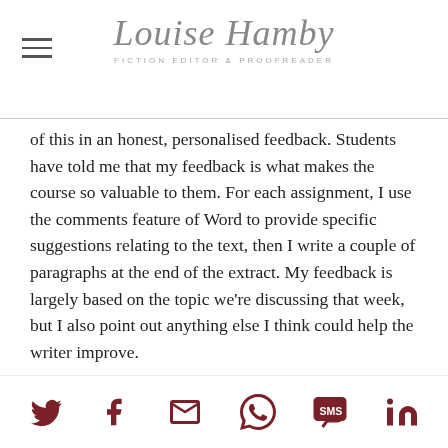Louise Hamby — Fiction Editor & Proofreader
of this in an honest, personalised feedback. Students have told me that my feedback is what makes the course so valuable to them. For each assignment, I use the comments feature of Word to provide specific suggestions relating to the text, then I write a couple of paragraphs at the end of the extract. My feedback is largely based on the topic we're discussing that week, but I also point out anything else I think could help the writer improve.
But that's not all. At the end of the course, I provide each writer with a written summary of the best ways I think they can improve their writing in general. This, along with their Workbook and a final exercise, helps them come up with their own personalised plan of
Social share icons: Twitter, Facebook, Email, WhatsApp, SMS, LinkedIn